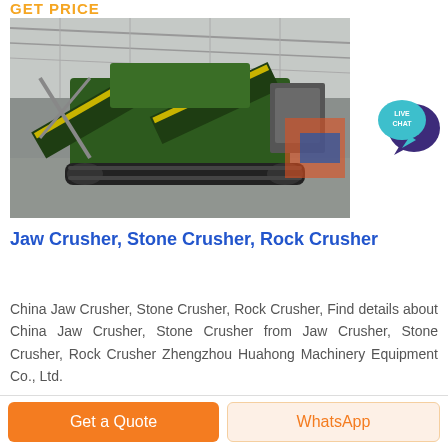GET PRICE
[Figure (photo): Photo of a large green jaw/stone/rock crusher machine on tracks inside an industrial warehouse with steel truss roof]
[Figure (infographic): Live Chat speech bubble icon in teal/blue with dark purple chat bubble behind it]
Jaw Crusher, Stone Crusher, Rock Crusher
China Jaw Crusher, Stone Crusher, Rock Crusher, Find details about China Jaw Crusher, Stone Crusher from Jaw Crusher, Stone Crusher, Rock Crusher Zhengzhou Huahong Machinery Equipment Co., Ltd.
Get a Quote
WhatsApp